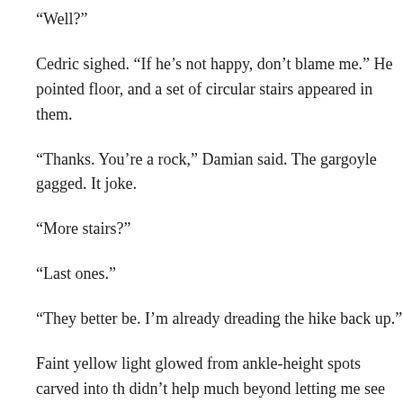“Well?”
Cedric sighed. “If he’s not happy, don’t blame me.” He pointed floor, and a set of circular stairs appeared in them.
“Thanks. You’re a rock,” Damian said. The gargoyle gagged. It joke.
“More stairs?”
“Last ones.”
“They better be. I’m already dreading the hike back up.”
Faint yellow light glowed from ankle-height spots carved into th didn’t help much beyond letting me see where my feet were go was a blank. Even Damian was a grey blur in a deeper black.
“Are you planning on killing me down here or something? Beca
“I’m not, but you might want to keep your voice down. In this to